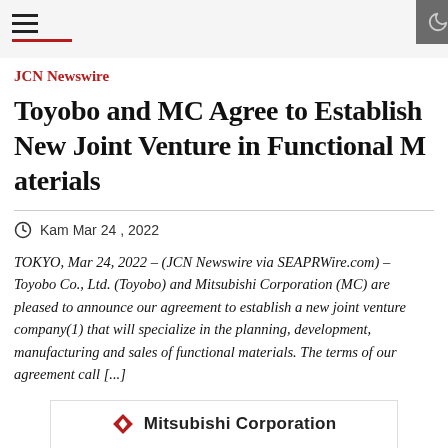JCN Newswire
Toyobo and MC Agree to Establish New Joint Venture in Functional Materials
Kam Mar 24 , 2022
TOKYO, Mar 24, 2022 – (JCN Newswire via SEAPRWire.com) – Toyobo Co., Ltd. (Toyobo) and Mitsubishi Corporation (MC) are pleased to announce our agreement to establish a new joint venture company(1) that will specialize in the planning, development, manufacturing and sales of functional materials. The terms of our agreement call [...]
[Figure (logo): Mitsubishi Corporation logo with red diamond shape and company name text]